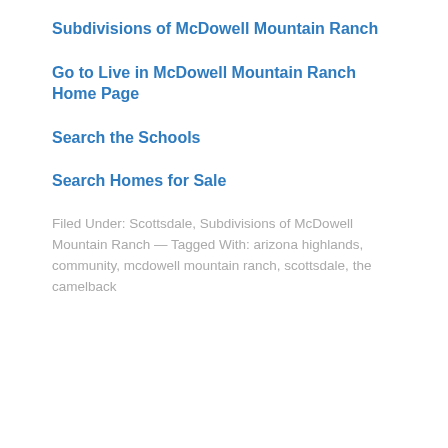Subdivisions of McDowell Mountain Ranch
Go to Live in McDowell Mountain Ranch Home Page
Search the Schools
Search Homes for Sale
Filed Under: Scottsdale, Subdivisions of McDowell Mountain Ranch — Tagged With: arizona highlands, community, mcdowell mountain ranch, scottsdale, the camelback